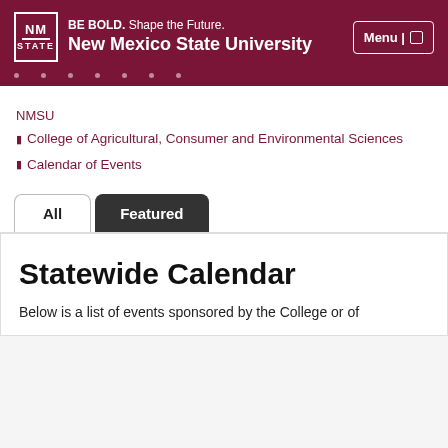BE BOLD. Shape the Future. New Mexico State University
NMSU
College of Agricultural, Consumer and Environmental Sciences
Calendar of Events
Statewide Calendar
Below is a list of events sponsored by the College or of